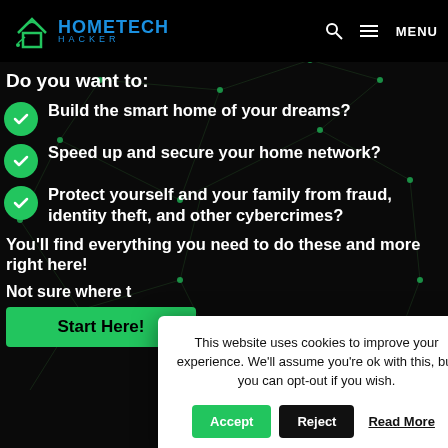HOMETECH HACKER
Do you want to:
Build the smart home of your dreams?
Speed up and secure your home network?
Protect yourself and your family from fraud, identity theft, and other cybercrimes?
You'll find everything you need to do these and more right here!
Not sure where t…
Start Here!
This website uses cookies to improve your experience. We'll assume you're ok with this, but you can opt-out if you wish.